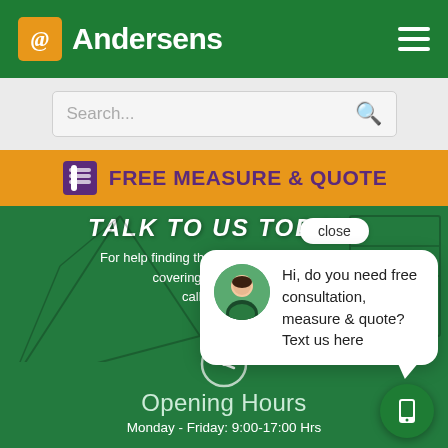Andersens
[Figure (screenshot): Search bar with placeholder text 'Search...' and green search icon]
FREE MEASURE & QUOTE
TALK TO US TODAY!
For help finding the best flooring or window coverings for your home, call us on 13... oblig...
[Figure (screenshot): Chat popup with avatar of a woman, close button, and message: 'Hi, do you need free consultation, measure & quote? Text us here']
Opening Hours
Monday - Friday: 9:00-17:00 Hrs